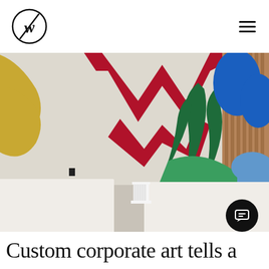W logo | navigation menu
[Figure (photo): Interior room with a large colorful abstract mural on the wall featuring bold shapes in red, blue, green, gold/yellow, and cream/white. A zigzag red W-like shape is prominent in the center, flanked by cloud shapes in blue and abstract organic forms in green and gold. White furniture pieces and a small white column-like decorative object sit in the foreground on a grey surface.]
Custom corporate art tells a